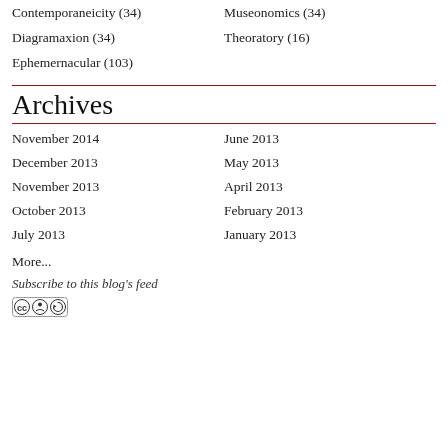Contemporaneicity (34)
Museonomics (34)
Diagramaxion (34)
Theoratory (16)
Ephemernacular (103)
Archives
November 2014
June 2013
December 2013
May 2013
November 2013
April 2013
October 2013
February 2013
July 2013
January 2013
More...
Subscribe to this blog's feed
[Figure (logo): Creative Commons CC BY-SA badge]